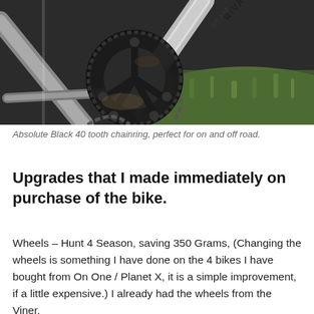[Figure (photo): Close-up photograph of a black Absolute Black 40 tooth chainring on a bicycle drivetrain, with SRAM Rival crankarm visible and green grass background. The chainring is muddy and has an oval/narrow-wide tooth profile.]
Absolute Black 40 tooth chainring, perfect for on and off road.
Upgrades that I made immediately on purchase of the bike.
Wheels – Hunt 4 Season, saving 350 Grams, (Changing the wheels is something I have done on the 4 bikes I have bought from On One / Planet X, it is a simple improvement, if a little expensive.) I already had the wheels from the Viner.